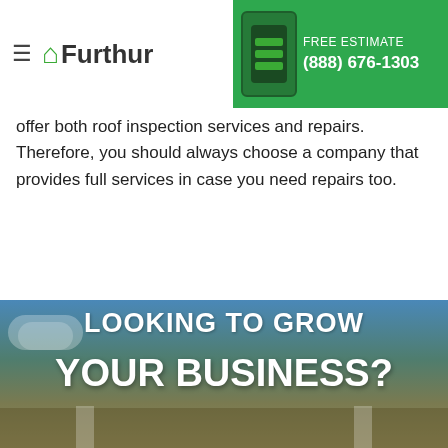Furthur — FREE ESTIMATE (888) 676-1303
offer both roof inspection services and repairs. Therefore, you should always choose a company that provides full services in case you need repairs too.
Last Updated: Jul 5, 2022
CALL NOW FOR A FREE ESTIMATE
(888) 676-1303
[Figure (infographic): Looking to grow your business? promotional banner with blue-to-gold gradient background]